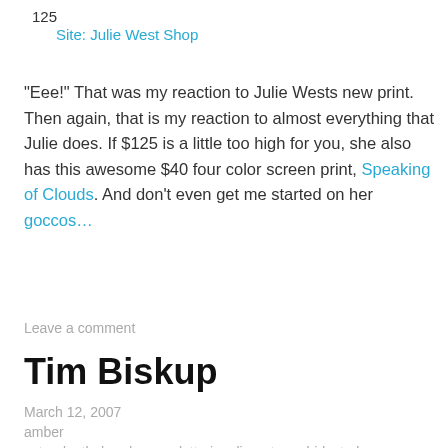125
Site: Julie West Shop
"Eee!" That was my reaction to Julie Wests new print. Then again, that is my reaction to almost everything that Julie does. If $125 is a little too high for you, she also has this awesome $40 four color screen print, Speaking of Clouds. And don't even get me started on her goccos…
Leave a comment
Tim Biskup
March 12, 2007
amber
cute, death, hand-press, lettering, lineart, morbid, stark